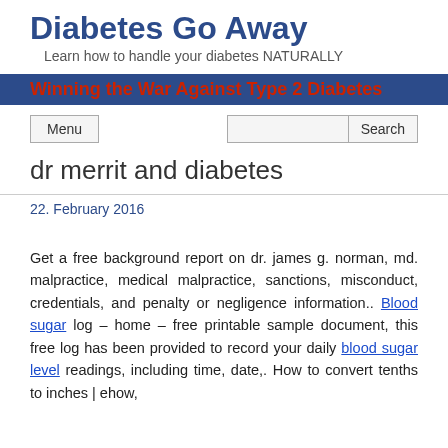Diabetes Go Away
Learn how to handle your diabetes NATURALLY
Winning the War Against Type 2 Diabetes
Menu
Search
dr merrit and diabetes
22. February 2016
Get a free background report on dr. james g. norman, md. malpractice, medical malpractice, sanctions, misconduct, credentials, and penalty or negligence information.. Blood sugar log – home – free printable sample document, this free log has been provided to record your daily blood sugar level readings, including time, date,. How to convert tenths to inches | ehow,